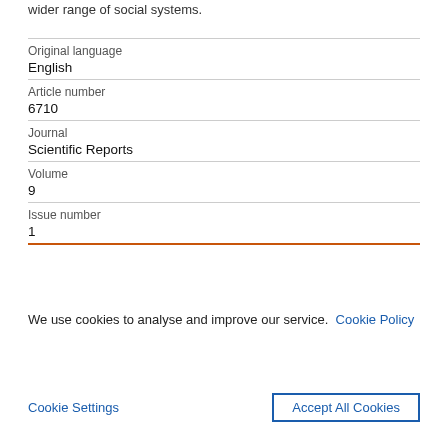wider range of social systems.
| Original language | English |
| Article number | 6710 |
| Journal | Scientific Reports |
| Volume | 9 |
| Issue number | 1 |
We use cookies to analyse and improve our service. Cookie Policy
Cookie Settings   Accept All Cookies